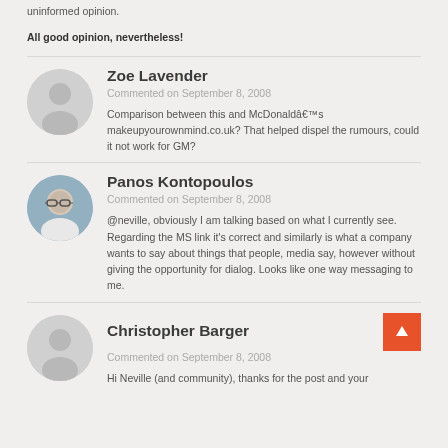uninformed opinion.
All good opinion, nevertheless!
Zoe Lavender
Commented on September 8, 2008
Comparison between this and McDonaldâ€™s makeupyourownmind.co.uk? That helped dispel the rumours, could it not work for GM?
Panos Kontopoulos
Commented on September 8, 2008
@neville, obviously I am talking based on what I currently see. Regarding the MS link it's correct and similarly is what a company wants to say about things that people, media say, however without giving the opportunity for dialog. Looks like one way messaging to me.
Christopher Barger
Commented on September 8, 2008
Hi Neville (and community), thanks for the post and your